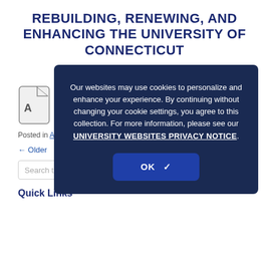REBUILDING, RENEWING, AND ENHANCING THE UNIVERSITY OF CONNECTICUT
APRIL 2014
Click here to download the PDF (8.6 MB)
Posted in [category]
← Older
Search this site
Quick Links
Our websites may use cookies to personalize and enhance your experience. By continuing without changing your cookie settings, you agree to this collection. For more information, please see our UNIVERSITY WEBSITES PRIVACY NOTICE.
OK ✓